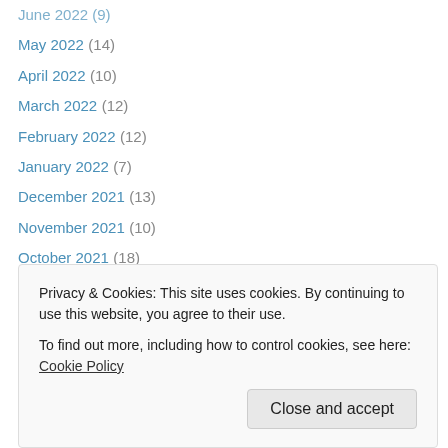June 2022 (9)
May 2022 (14)
April 2022 (10)
March 2022 (12)
February 2022 (12)
January 2022 (7)
December 2021 (13)
November 2021 (10)
October 2021 (18)
September 2021 (8)
August 2021 (13)
July 2021 (6)
June 2021 (16)
May 2021 (28)
November 2020 (22)
Privacy & Cookies: This site uses cookies. By continuing to use this website, you agree to their use. To find out more, including how to control cookies, see here: Cookie Policy